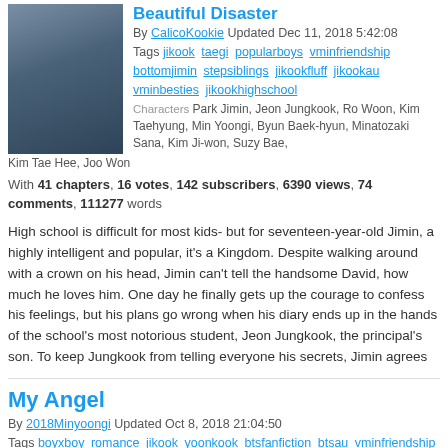Beautiful Disaster
By CalicoKookie Updated Dec 11, 2018 5:42:08
Tags jikook taegi popularboys vminfriendship bottomjimin stepsiblings jikookfluff jikookau vminbesties jikookhighschool
Characters Park Jimin, Jeon Jungkook, Ro Woon, Kim Taehyung, Min Yoongi, Byun Baek-hyun, Minatozaki Sana, Kim Ji-won, Suzy Bae, Kim Tae Hee, Joo Won
With 41 chapters, 16 votes, 142 subscribers, 6390 views, 74 comments, 111277 words
High school is difficult for most kids- but for seventeen-year-old Jimin, a highly intelligent and popular, it's a Kingdom. Despite walking around with a crown on his head, Jimin can't tell the handsome David, how much he loves him. One day he finally gets up the courage to confess his feelings, but his plans go wrong when his diary ends up in the hands of the school's most notorious student, Jeon Jungkook, the principal's son. To keep Jungkook from telling everyone his secrets, Jimin agrees
My Angel
By 2018Minyoongi Updated Oct 8, 2018 21:04:50
Tags boyxboy romance jikook yoonkook btsfanfiction btsau vminfriendship
Characters Park Jimin, Jeon Jungkook, Min Yoongi, Kim Taehyung
With 4 subscribers, 130 views, 2 comments, 111 words
Status [M], [TW], Members Only, Subscribers Only